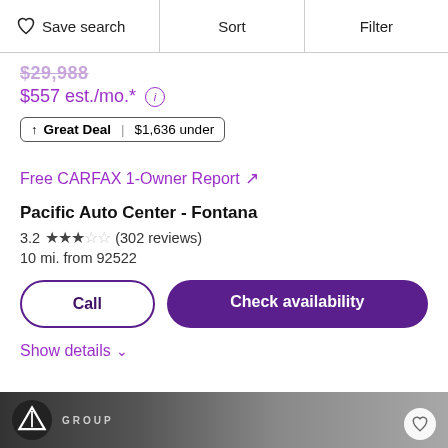Save search  Sort  Filter
$557 est./mo.* ℹ
↑ Great Deal | $1,636 under
Free CARFAX 1-Owner Report ↗
Pacific Auto Center - Fontana
3.2 ★★★☆☆ (302 reviews)
10 mi. from 92522
Call
Check availability
Show details ∨
[Figure (photo): Bottom strip showing next car listing with dealer logo and GROUP text]